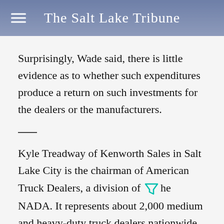The Salt Lake Tribune
Surprisingly, Wade said, there is little evidence as to whether such expenditures produce a return on such investments for the dealers or the manufacturers.
Kyle Treadway of Kenworth Sales in Salt Lake City is the chairman of American Truck Dealers, a division of the NADA. It represents about 2,000 medium and heavy-duty truck dealers nationwide. Treadway will be concluding his term as chairman in February.